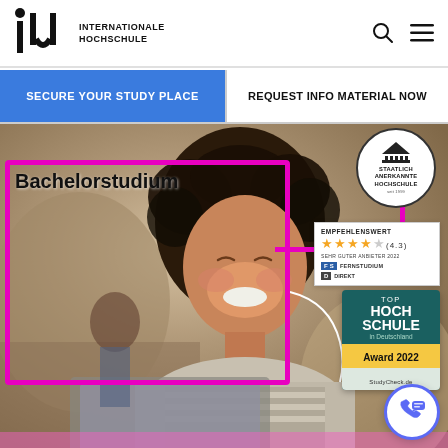[Figure (logo): IU Internationale Hochschule logo with stylized 'iu' letters and dot]
INTERNATIONALE HOCHSCHULE
SECURE YOUR STUDY PLACE
REQUEST INFO MATERIAL NOW
[Figure (photo): Smiling young woman with curly hair wearing earphones, working on laptop in a bright cafe setting]
Bachelorstudium
[Figure (illustration): Staatlich Anerkannte Hochschule seit 1999 circular badge/seal]
[Figure (illustration): Empfehlenswert rating box showing 4.3 stars, Sehr Guter Anbieter 2022, Fernstudium Direkt badge]
[Figure (illustration): TOP Hochschule in Deutschland Award 2022 StudyCheck.de badge in teal and gold]
[Figure (illustration): Blue circular chat/support button with phone and speech bubble icon]